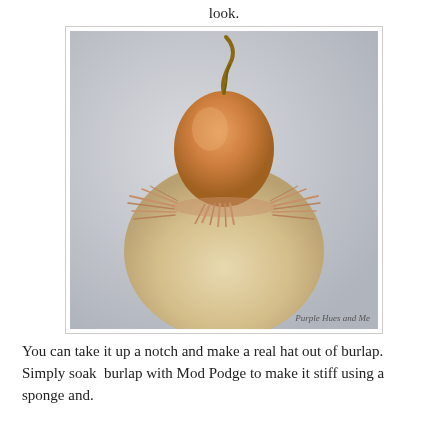look.
[Figure (photo): A decorative gourd with a large round tan/burlap-covered bottom section and a smaller orange pumpkin-like top section with a curved stem. Orange raffia or straw material is tied around the neck between the two sections. Watermark reads 'Purple Hues and Me'.]
You can take it up a notch and make a real hat out of burlap. Simply soak  burlap with Mod Podge to make it stiff using a sponge and.